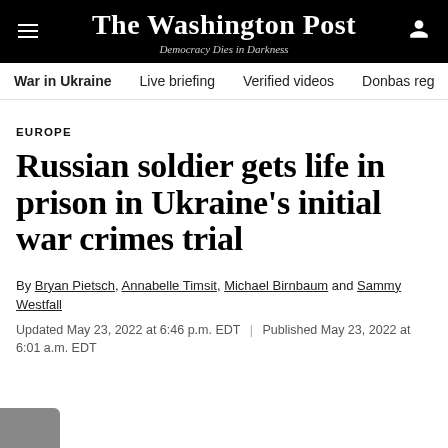The Washington Post
Democracy Dies in Darkness
War in Ukraine   Live briefing   Verified videos   Donbas reg
EUROPE
Russian soldier gets life in prison in Ukraine's initial war crimes trial
By Bryan Pietsch, Annabelle Timsit, Michael Birnbaum and Sammy Westfall
Updated May 23, 2022 at 6:46 p.m. EDT | Published May 23, 2022 at 6:01 a.m. EDT